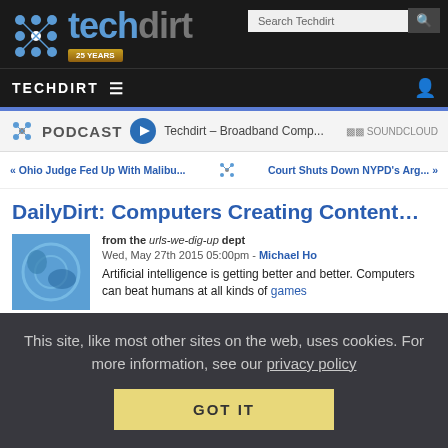[Figure (logo): Techdirt logo with 25 YEARS badge, network icon on the left, and search bar in top right]
TECHDIRT ≡
[Figure (screenshot): Podcast bar: PODCAST label with play button, Techdirt – Broadband Comp... text, SOUNDCLOUD logo]
« Ohio Judge Fed Up With Malibu... | Court Shuts Down NYPD's Arg... »
DailyDirt: Computers Creating Content…
from the urls-we-dig-up dept
Wed, May 27th 2015 05:00pm - Michael Ho
[Figure (illustration): Blue circular illustration, computer mouse related graphic]
Artificial intelligence is getting better and better. Computers can beat humans at all kinds of games
This site, like most other sites on the web, uses cookies. For more information, see our privacy policy
GOT IT